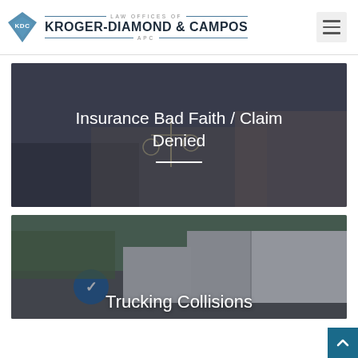Law Offices of Kroger-Diamond & Campos APC
[Figure (photo): Background photo of a legal meeting scene with scales of justice and a handshake, overlaid with text 'Insurance Bad Faith / Claim Denied' and a white horizontal divider]
Insurance Bad Faith / Claim Denied
[Figure (photo): Background photo of a large truck on a road, with text 'Trucking Collisions' beginning to appear at bottom]